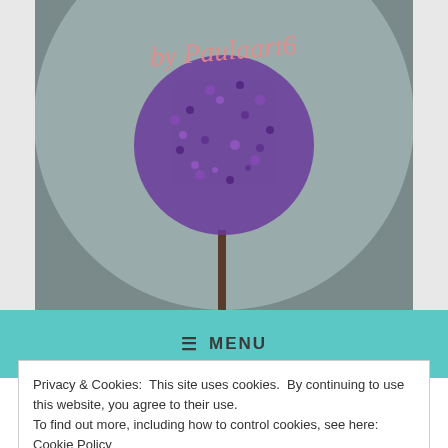[Figure (photo): Circular logo or header image showing a purple allium flower ball on a stem, with a cursive text overlay reading 'by Paulaart6' in rose/pink color, against a grey blurred background. The image is cropped to the top portion.]
≡ MENU
MONTH: OCTOBER 2017
Privacy & Cookies: This site uses cookies. By continuing to use this website, you agree to their use.
To find out more, including how to control cookies, see here: Cookie Policy
Close and accept